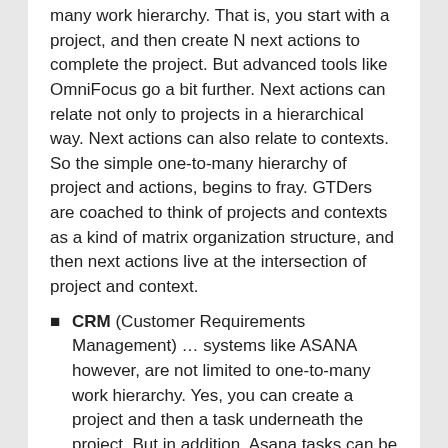many work hierarchy. That is, you start with a project, and then create N next actions to complete the project. But advanced tools like OmniFocus go a bit further. Next actions can relate not only to projects in a hierarchical way. Next actions can also relate to contexts. So the simple one-to-many hierarchy of project and actions, begins to fray. GTDers are coached to think of projects and contexts as a kind of matrix organization structure, and then next actions live at the intersection of project and context.
CRM (Customer Requirements Management) … systems like ASANA however, are not limited to one-to-many work hierarchy. Yes, you can create a project and then a task underneath the project. But in addition, Asana tasks can be related explicitly to multiple projects.
This is a many-to-many link which CRM